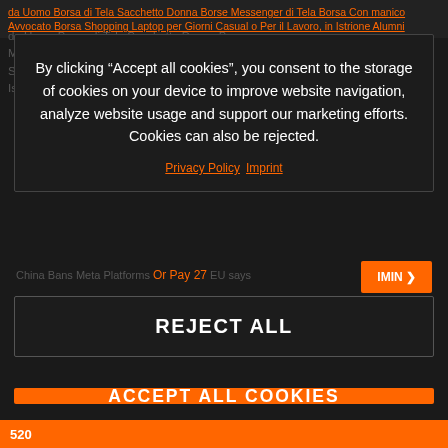da Uomo Borsa di Tela Sacchetto Donna Borse Messenger di Tela Borsa Con manico Avvocato Borsa Shopping Laptop per Giorni Casual o Per il Lavoro, in Istrione Alumni
By clicking “Accept all cookies”, you consent to the storage of cookies on your device to improve website navigation, analyze website usage and support our marketing efforts. Cookies can also be rejected.
Privacy Policy  Imprint
REJECT ALL
China Bans Meta Platforms Or Pay 27 EU says
ACCEPT ALL COOKIES
520